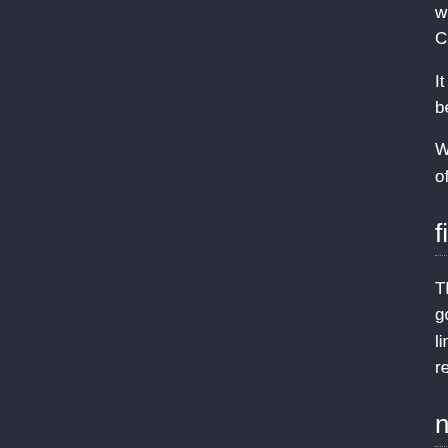with Stellarium under t... Commons licensed ima...
It is important to explici... be done in the readme.
We recommend an ope... of the Creative Commo...
file encoding
The landscape.ini and ... good idea to adopt the ... line ending encoding sh... reading the readme.txt
need hosting?
If you have a landscape... Stellarium developers a...